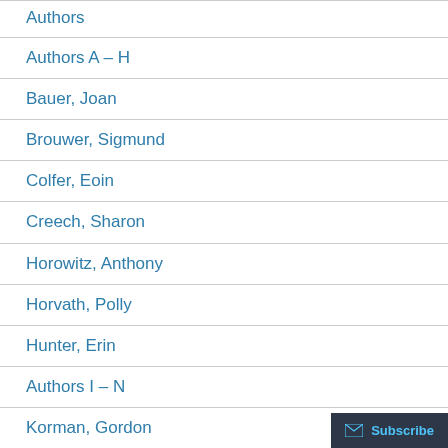Authors
Authors A – H
Bauer, Joan
Brouwer, Sigmund
Colfer, Eoin
Creech, Sharon
Horowitz, Anthony
Horvath, Polly
Hunter, Erin
Authors I – N
Korman, Gordon